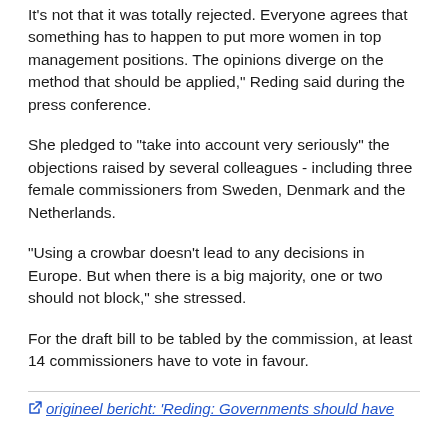It's not that it was totally rejected. Everyone agrees that something has to happen to put more women in top management positions. The opinions diverge on the method that should be applied," Reding said during the press conference.
She pledged to "take into account very seriously" the objections raised by several colleagues - including three female commissioners from Sweden, Denmark and the Netherlands.
"Using a crowbar doesn't lead to any decisions in Europe. But when there is a big majority, one or two should not block," she stressed.
For the draft bill to be tabled by the commission, at least 14 commissioners have to vote in favour.
origineel bericht: 'Reding: Governments should have